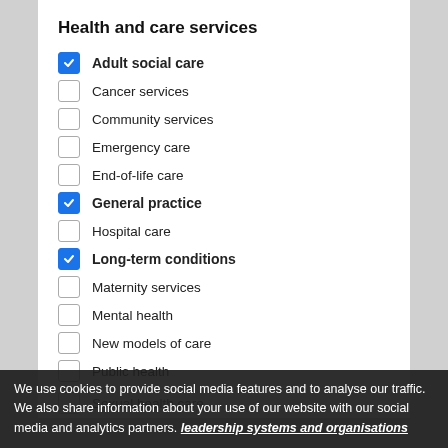Health and care services
Adult social care (checked)
Cancer services
Community services
Emergency care
End-of-life care
General practice (checked)
Hospital care
Long-term conditions (checked)
Maternity services
Mental health
New models of care
Public health
Sexual health care
We use cookies to provide social media features and to analyse our traffic. We also share information about your use of our website with our social media and analytics partners. leadership systems and organisations